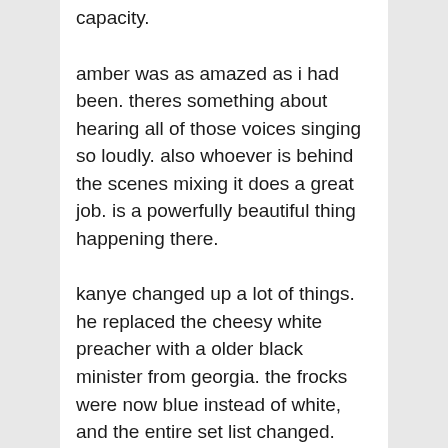capacity.
amber was as amazed as i had been. theres something about hearing all of those voices singing so loudly. also whoever is behind the scenes mixing it does a great job. is a powerfully beautiful thing happening there.
kanye changed up a lot of things. he replaced the cheesy white preacher with a older black minister from georgia. the frocks were now blue instead of white, and the entire set list changed.
it went on for two hours and that was more than enough for amber. which is fine. we walked the mile or so to our car, drove around the block looking for thePorary which